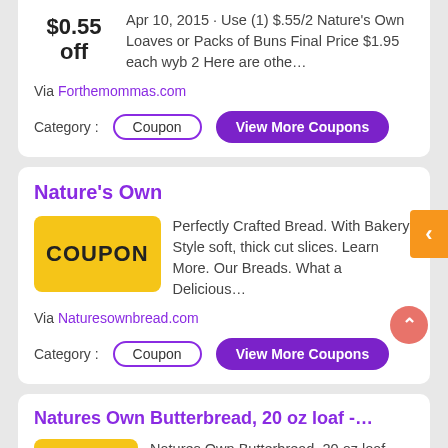$0.55 off
Apr 10, 2015 · Use (1) $.55/2 Nature's Own Loaves or Packs of Buns Final Price $1.95 each wyb 2 Here are othe…
Via Forthemommas.com
Category : Coupon
View More Coupons
Nature's Own
COUPON
Perfectly Crafted Bread. With Bakery Style soft, thick cut slices. Learn More. Our Breads. What a Delicious…
Via Naturesownbread.com
Category : Coupon
View More Coupons
Natures Own Butterbread, 20 oz loaf -…
Natures Own Butterbread, 20 oz loaf -